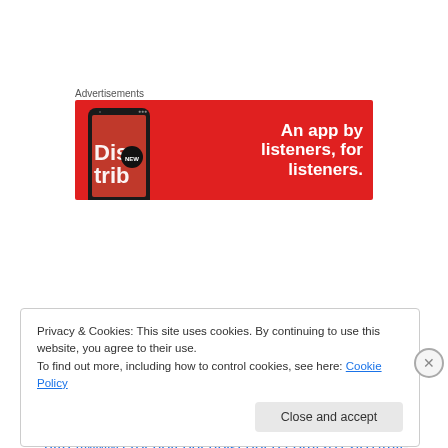[Figure (screenshot): Advertisement banner with red background showing a smartphone displaying a podcast app interface with text 'An app by listeners, for listeners.']
http://www.crochetconcupiscence.com/2012/01/my-crochet-specific-stitch-contest-scarf/
Privacy & Cookies: This site uses cookies. By continuing to use this website, you agree to their use. To find out more, including how to control cookies, see here: Cookie Policy